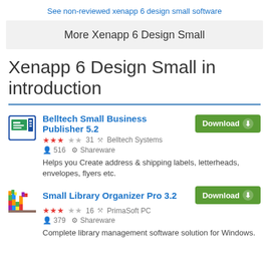See non-reviewed xenapp 6 design small software
More Xenapp 6 Design Small
Xenapp 6 Design Small in introduction
Belltech Small Business Publisher 5.2 | ★★★☆☆ 31 | Belltech Systems | 516 | Shareware | Download | Helps you Create address & shipping labels, letterheads, envelopes, flyers etc.
Small Library Organizer Pro 3.2 | ★★★☆☆ 16 | PrimaSoft PC | 379 | Shareware | Download | Complete library management software solution for Windows.